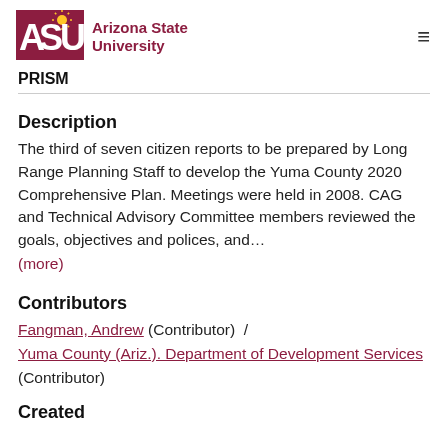Arizona State University — PRISM
Description
The third of seven citizen reports to be prepared by Long Range Planning Staff to develop the Yuma County 2020 Comprehensive Plan. Meetings were held in 2008. CAG and Technical Advisory Committee members reviewed the goals, objectives and polices, and…
(more)
Contributors
Fangman, Andrew (Contributor)  /  Yuma County (Ariz.). Department of Development Services (Contributor)
Created